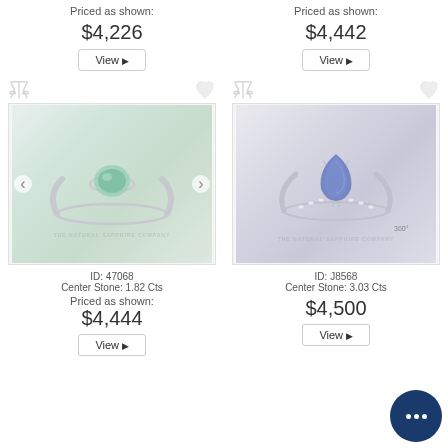Priced as shown:
$4,226
View
Priced as shown:
$4,442
View
[Figure (photo): Green sapphire solitaire ring with silver band on white background, watermark THE NATURAL SAPPHIRE COMPANY]
[Figure (photo): Blue pear-shaped sapphire ring with diamond-set band on white background, watermark THE NATURAL SAPPHIRE COMPANY, 360 badge]
ID: 47068
Center Stone: 1.82 Cts
Priced as shown:
$4,444
View
ID: J8568
Center Stone: 3.03 Cts
$4,500
View